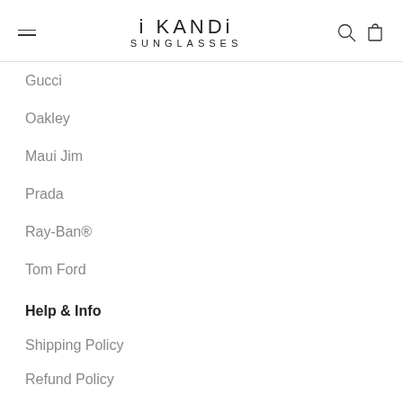i KANDi SUNGLASSES
Gucci
Oakley
Maui Jim
Prada
Ray-Ban®
Tom Ford
Help & Info
Shipping Policy
Refund Policy